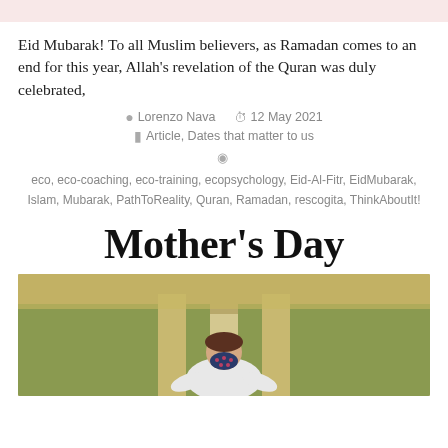[Figure (other): Pink/light rose colored banner bar at top of page]
Eid Mubarak! To all Muslim believers, as Ramadan comes to an end for this year, Allah's revelation of the Quran was duly celebrated,
Lorenzo Nava  12 May 2021  Article, Dates that matter to us  eco, eco-coaching, eco-training, ecopsychology, Eid-Al-Fitr, EidMubarak, Islam, Mubarak, PathToReality, Quran, Ramadan, rescogita, ThinkAboutIt!
Mother's Day
[Figure (photo): Photo of a woman wearing a floral face mask and white jacket, outdoors with pathway and grass in background]